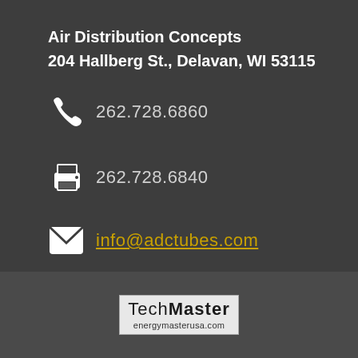Air Distribution Concepts
204 Hallberg St., Delavan, WI 53115
262.728.6860
262.728.6840
info@adctubes.com
[Figure (logo): TechMaster / energymasterusa.com logo in a gray box]